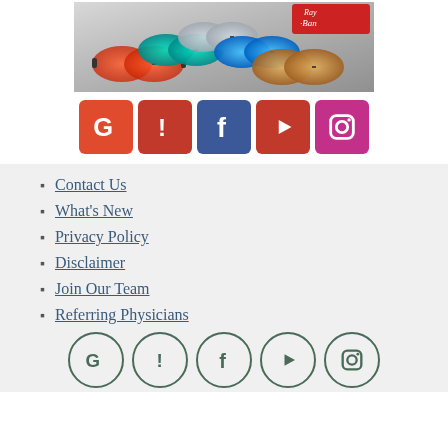[Figure (photo): Ray-Ban sunglasses displayed in a fan arrangement showing multiple colorful mirrored lenses with Ray-Ban logo in top right corner]
[Figure (infographic): Row of 5 colored social media icon buttons: Google (red), Yelp (dark red), Facebook (blue), YouTube (red), Instagram (pink/magenta)]
Contact Us
What's New
Privacy Policy
Disclaimer
Join Our Team
Referring Physicians
[Figure (infographic): Row of 5 circular outlined social media icons: Google, Yelp, Facebook, YouTube, Instagram — in dark green/teal outline style]